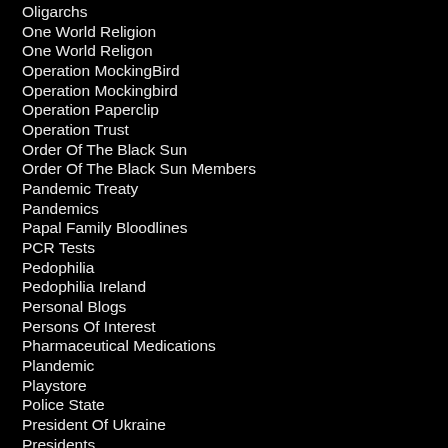Oligarchs
One World Religion
One World Religon
Operation MockingBird
Operation Mockingbird
Operation Paperclip
Operation Trust
Order Of The Black Sun
Order Of The Black Sun Members
Pandemic Treaty
Pandemics
Papal Family Bloodlines
PCR Tests
Pedophilia
Pedophilia Ireland
Personal Blogs
Persons Of Interest
Pharmaceutical Medications
Plandemic
Playstore
Police State
President Of Ukraine
Presidents
Professor Dolores Cahill
Prolonged Mask Wearing